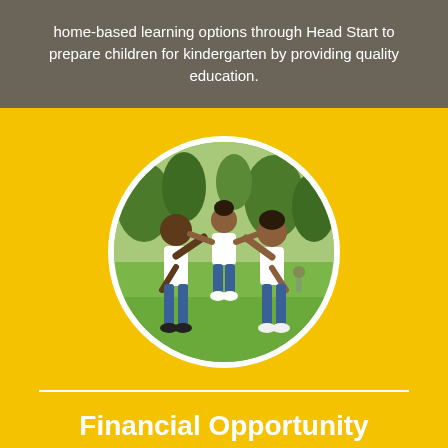home-based learning options through Head Start to prepare children for kindergarten by providing quality education.
[Figure (photo): A family of four — an adult man, a woman, and two children — playing outdoors in a park, all wearing white shirts and jeans. The child in the center is being lifted/swung by the adults. Displayed in a circular crop with a white border on a yellow background.]
Financial Opportunity Center